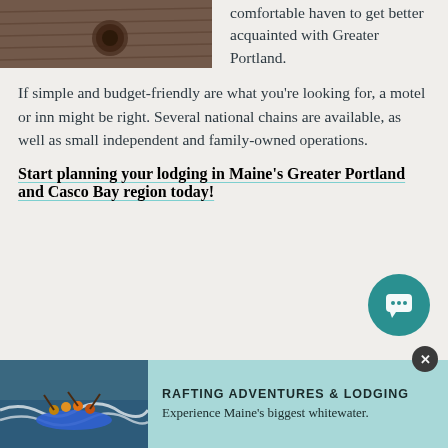[Figure (photo): Overhead view of wooden deck with circular drain]
comfortable haven to get better acquainted with Greater Portland.
If simple and budget-friendly are what you're looking for, a motel or inn might be right. Several national chains are available, as well as small independent and family-owned operations.
Start planning your lodging in Maine's Greater Portland and Casco Bay region today!
[Figure (illustration): Teal chat/message button icon]
[Figure (photo): People white water rafting in blue raft on rapids]
RAFTING ADVENTURES & LODGING
Experience Maine's biggest whitewater.